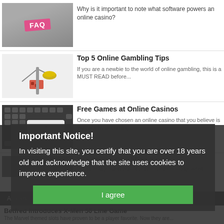[Figure (photo): FAQ sticky note on a binder/notebook, thumbnail image]
Why is it important to note what software powers an online casino?
[Figure (photo): Balance scale with red dice and gold coins, thumbnail image for gambling tips article]
Top 5 Online Gambling Tips
If you are a newbie to the world of online gambling, this is a MUST READ before...
[Figure (photo): Keyboard with 'online gaming' key with heart logo, thumbnail image]
Free Games at Online Casinos
Once you have chosen an online casino that you believe is trustworthy according...
Top Online Gambling Sites
With literally hundreds of online casinos today, what
Important Notice!
In visiting this site, you certify that you are over 18 years old and acknowledge that the site uses cookies to improve experience.
I agree
Articles
Betfred Introduces X-Men 50 Line Game
The Marvel themed slots have proven to be a player favorite. Now they are...